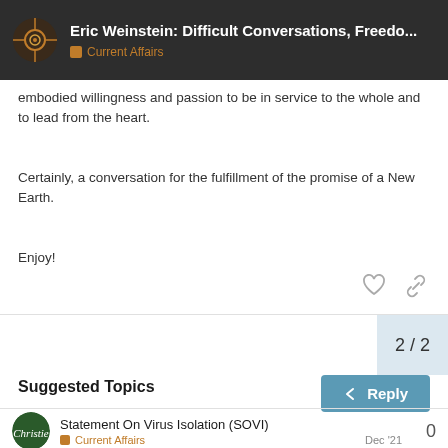Eric Weinstein: Difficult Conversations, Freedo... | Current Affairs
embodied willingness and passion to be in service to the whole and to lead from the heart.
Certainly, a conversation for the fulfillment of the promise of a New Earth.
Enjoy!
2 / 2
Reply
Suggested Topics
Statement On Virus Isolation (SOVI)
Current Affairs
Dec '21
0
The Pandemic of Fear and Guilt
0